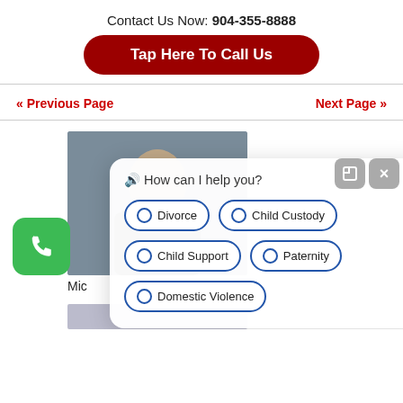Contact Us Now: 904-355-8888
Tap Here To Call Us
« Previous Page
Next Page »
[Figure (screenshot): Chat widget overlay showing 'How can I help you?' with options: Divorce, Child Custody, Child Support, Paternity, Domestic Violence. Also shows a professional headshot photo (Michael), a green phone icon button, and two gray control buttons.]